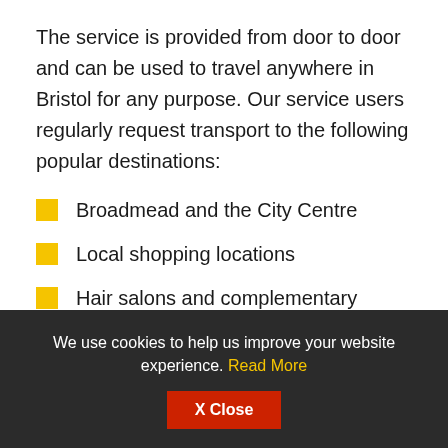The service is provided from door to door and can be used to travel anywhere in Bristol for any purpose. Our service users regularly request transport to the following popular destinations:
Broadmead and the City Centre
Local shopping locations
Hair salons and complementary health providers
We use cookies to help us improve your website experience. Read More  X Close